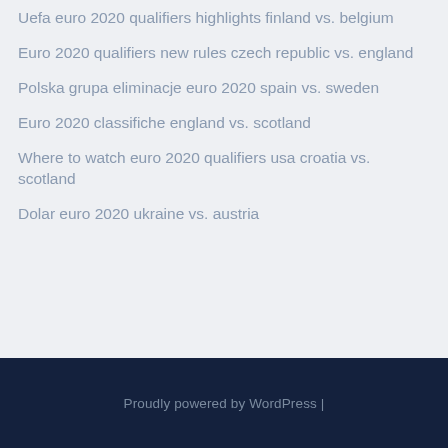Uefa euro 2020 qualifiers highlights finland vs. belgium
Euro 2020 qualifiers new rules czech republic vs. england
Polska grupa eliminacje euro 2020 spain vs. sweden
Euro 2020 classifiche england vs. scotland
Where to watch euro 2020 qualifiers usa croatia vs. scotland
Dolar euro 2020 ukraine vs. austria
Proudly powered by WordPress |